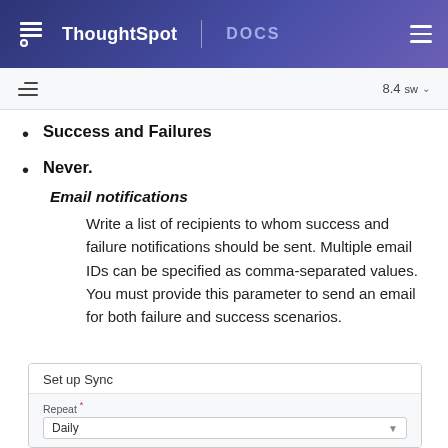ThoughtSpot DOCS
Success and Failures
Never.
Email notifications
Write a list of recipients to whom success and failure notifications should be sent. Multiple email IDs can be specified as comma-separated values. You must provide this parameter to send an email for both failure and success scenarios.
[Figure (screenshot): Set up Sync dialog box showing Repeat field with Daily dropdown selected]